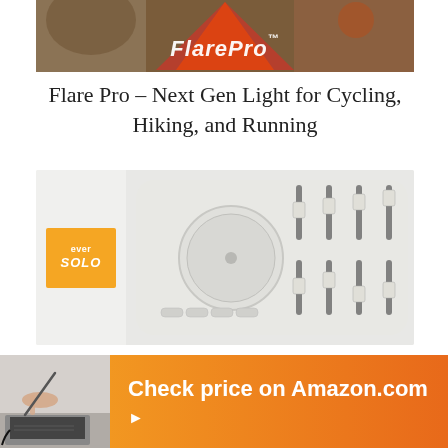[Figure (photo): FlarePro product image showing cycling, hiking and running gear with orange/red lighting effect and FlarePro trademark logo text overlaid]
Flare Pro – Next Gen Light for Cycling, Hiking, and Running
[Figure (photo): EverSolo audio mixing device in white with large dial knob and multiple sliding faders, shown with EverSolo yellow brand badge on left]
[Figure (photo): Orange/gradient banner with person at laptop on left side and 'Check price on Amazon.com' text with play arrow button]